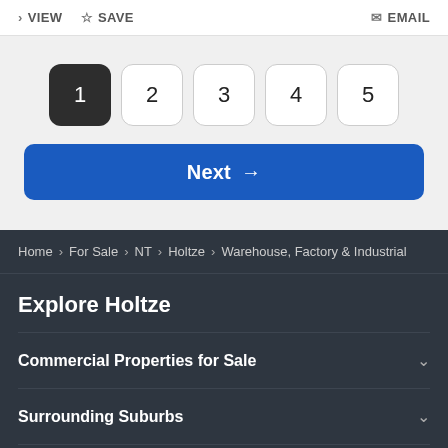> VIEW  ☆ SAVE  EMAIL
1 2 3 4 5 — Page navigation buttons
Next →
Home > For Sale > NT > Holtze > Warehouse, Factory & Industrial
Explore Holtze
Commercial Properties for Sale
Surrounding Suburbs
Commercial Real Estate